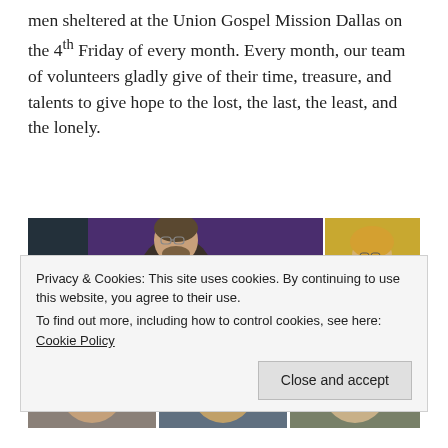men sheltered at the Union Gospel Mission Dallas on the 4th Friday of every month. Every month, our team of volunteers gladly give of their time, treasure, and talents to give hope to the lost, the last, the least, and the lonely.
[Figure (photo): Photo collage showing volunteers at Union Gospel Mission Dallas. Main image: Ed Czarnecki playing violin against a purple backdrop. Side image: Ann Bailey in yellow shirt. Bottom row: three partial face photos.]
Privacy & Cookies: This site uses cookies. By continuing to use this website, you agree to their use. To find out more, including how to control cookies, see here: Cookie Policy
Close and accept